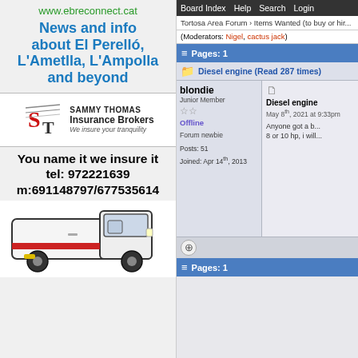www.ebreconnect.cat
News and info about El Perelló, L'Ametlla, L'Ampolla and beyond
[Figure (logo): Sammy Thomas Insurance Brokers logo with ST initials and tagline 'We insure your tranquility']
You name it we insure it
tel: 972221639
m:691148797/677535614
[Figure (photo): White van illustration]
Board Index  Help  Search  Login
Tortosa Area Forum › Items Wanted (to buy or hire)
(Moderators: Nigel, cactus jack)
Pages: 1
Diesel engine (Read 287 times)
blondie
Junior Member
Offline
Forum newbie
Posts: 51
Joined: Apr 14th, 2013
Diesel engine
May 8th, 2021 at 9:33pm
Anyone got a b... 8 or 10 hp, i will...
Pages: 1